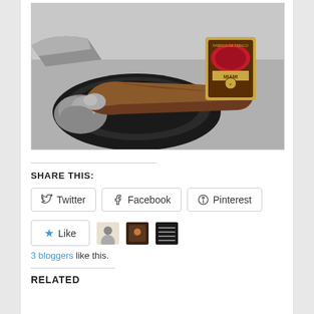[Figure (photo): A partially smoked cigar resting in a black ashtray, with ash beside it and a cigar band/label visible in the background reading 'Fabrica de Tabacos Miami']
SHARE THIS:
Twitter  Facebook  Pinterest
Like  3 bloggers like this.
RELATED